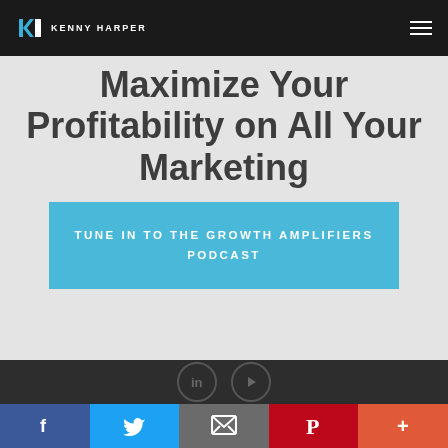KENNY HARPER
Maximize Your Profitability on All Your Marketing
TUNE IN TO THE GROWTH AMPLIFIERS PODCAST
[Figure (illustration): Dark footer section with LinkedIn and YouTube social media icon circles on dark background]
Facebook, Twitter, Email, Pinterest, More share buttons